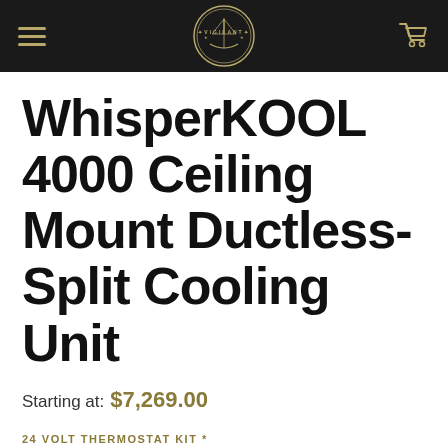VIGILANT
WhisperKOOL 4000 Ceiling Mount Ductless-Split Cooling Unit
Starting at: $7,269.00
24 VOLT THERMOSTAT KIT *
Select an Option